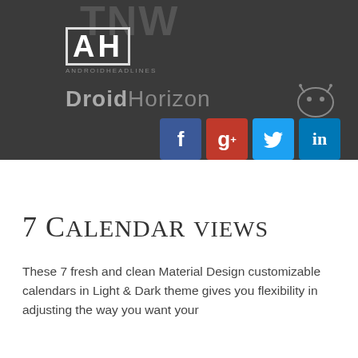[Figure (logo): Dark header banner containing TNW logo (large gray text), Android Headlines logo (AH in outlined letters), DroidHorizon logo, android bug icon, and four social media icons for Facebook, Google+, Twitter, and LinkedIn]
7 Calendar views
These 7 fresh and clean Material Design customizable calendars in Light & Dark theme gives you flexibility in adjusting the way you want your